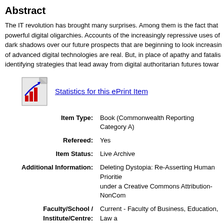Abstract
The IT revolution has brought many surprises. Among them is the fact that powerful digital oligarchies. Accounts of the increasingly repressive uses of dark shadows over our future prospects that are beginning to look increasin of advanced digital technologies are real. But, in place of apathy and fatalis identifying strategies that lead away from digital authoritarian futures towar
[Figure (illustration): Bar chart icon representing statistics for ePrint item]
Statistics for this ePrint Item
| Field | Value |
| --- | --- |
| Item Type: | Book (Commonwealth Reporting Category A) |
| Refereed: | Yes |
| Item Status: | Live Archive |
| Additional Information: | Deleting Dystopia: Re-Asserting Human Prioritie under a Creative Commons Attribution-NonCom |
| Faculty/School / Institute/Centre: | Current - Faculty of Business, Education, Law a |
| Faculty/School / Institute/Centre: | Current - Faculty of Business, Education, Law a |
| Date Deposited: | 05 Oct 2021 23:38 |
| Last Modified: | 04 Jul 2022 02:42 |
| Uncontrolled | surveillance capitalism; dystopia; social media; |